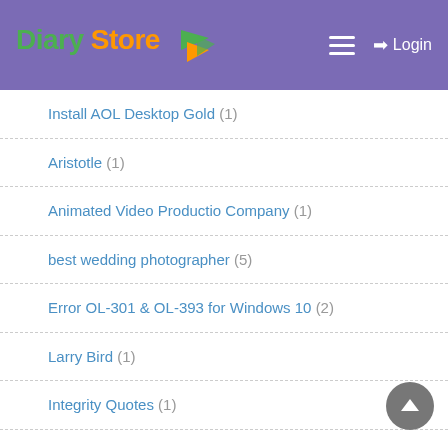Diary Store — Login
Install AOL Desktop Gold (1)
Aristotle (1)
Animated Video Productio Company (1)
best wedding photographer (5)
Error OL-301 & OL-393 for Windows 10 (2)
Larry Bird (1)
Integrity Quotes (1)
meilleurs casinos en ligne francophone (1)
gift bags dubai (1)
Forgot AOL Mail Password (2)
James Cash Penney (1)
Judy Blume (1)